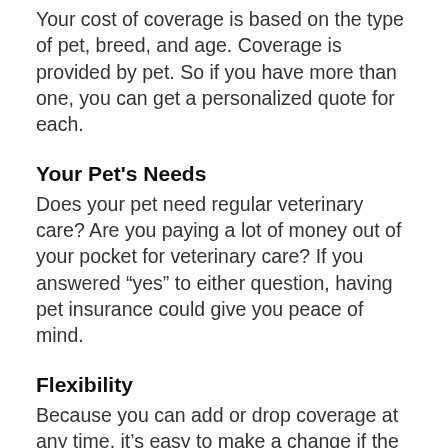Your cost of coverage is based on the type of pet, breed, and age. Coverage is provided by pet. So if you have more than one, you can get a personalized quote for each.
Your Pet’s Needs
Does your pet need regular veterinary care? Are you paying a lot of money out of your pocket for veterinary care? If you answered “yes” to either question, having pet insurance could give you peace of mind.
Flexibility
Because you can add or drop coverage at any time, it’s easy to make a change if the need arises.